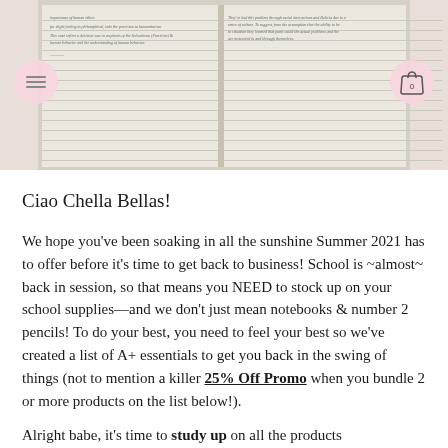[Figure (photo): Photo of an open notebook/journal with handwritten text, shown on a light surface. Pink circular menu icon on the left and pink circular shopping bag icon with '0' on the right overlaid on the photo.]
Ciao Chella Bellas!
We hope you’ve been soaking in all the sunshine Summer 2021 has to offer before it’s time to get back to business! School is ~almost~ back in session, so that means you NEED to stock up on your school supplies—and we don’t just mean notebooks & number 2 pencils! To do your best, you need to feel your best so we’ve created a list of A+ essentials to get you back in the swing of things (not to mention a killer 25% Off Promo when you bundle 2 or more products on the list below!).
Alright babe, it’s time to study up on all the products